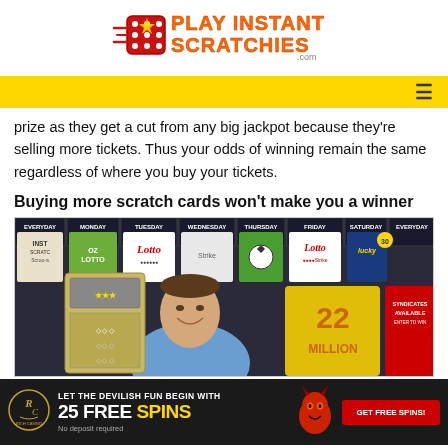[Figure (logo): Play Instant Scratchies .com logo with red dice and yellow/orange text]
prize as they get a cut from any big jackpot because they're selling more tickets. Thus your odds of winning remain the same regardless of where you buy your tickets.
Buying more scratch cards won't make you a winner
[Figure (photo): Young man smiling holding a large scratch card in front of a lottery ticket display board showing various lottery games including Lotto, OZ Lotto, and promotions for 22 Million prize and Syndicates Available]
[Figure (infographic): Rich Casino advertisement banner: LET THE DEVILISH FUN BEGIN WITH 25 FREE SPINS - No deposit required - GET FREE SPINS! button]